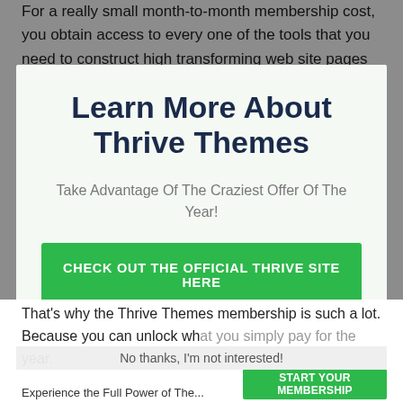For a really small month-to-month membership cost, you obtain access to every one of the tools that you need to construct high transforming web site pages and transform internet site visitors
Learn More About Thrive Themes
Take Advantage Of The Craziest Offer Of The Year!
CHECK OUT THE OFFICIAL THRIVE SITE HERE
No thanks, I'm not interested!
That's why the Thrive Themes membership is such a lot. Because you can unlock what you simply pay for the year.
Experience the Full Power of The...
Start Your Membership